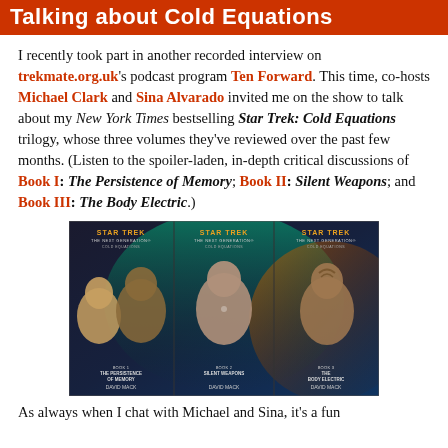Talking about Cold Equations
I recently took part in another recorded interview on trekmate.org.uk's podcast program Ten Forward. This time, co-hosts Michael Clark and Sina Alvarado invited me on the show to talk about my New York Times bestselling Star Trek: Cold Equations trilogy, whose three volumes they've reviewed over the past few months. (Listen to the spoiler-laden, in-depth critical discussions of Book I: The Persistence of Memory; Book II: Silent Weapons; and Book III: The Body Electric.)
[Figure (photo): Three Star Trek: The Next Generation Cold Equations book covers side by side, featuring characters from the show. Books titled The Persistence of Memory, Silent Weapons, and The Body Electric by David Mack.]
As always when I chat with Michael and Sina, it's a fun